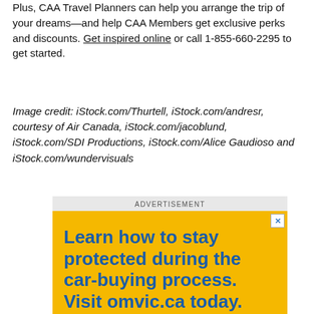Plus, CAA Travel Planners can help you arrange the trip of your dreams—and help CAA Members get exclusive perks and discounts. Get inspired online or call 1-855-660-2295 to get started.
Image credit: iStock.com/Thurtell, iStock.com/andresr, courtesy of Air Canada, iStock.com/jacoblund, iStock.com/SDI Productions, iStock.com/Alice Gaudioso and iStock.com/wundervisuals
[Figure (other): Advertisement banner with yellow background and blue bold text reading: Learn how to stay protected during the car-buying process. Visit omvic.ca today. With OMVIC logo partially visible at bottom.]